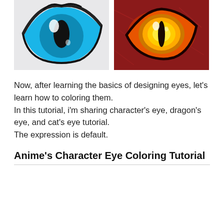[Figure (illustration): Two fantasy eye illustrations side by side: left is a stylized blue anime/cat eye with black outline on a light gray background; right is a glowing dragon eye with orange/gold iris and dark slit pupil on a red scaly background.]
Now, after learning the basics of designing eyes, let's learn how to coloring them.
In this tutorial, i'm sharing character's eye, dragon's eye, and cat's eye tutorial.
The expression is default.
Anime's Character Eye Coloring Tutorial